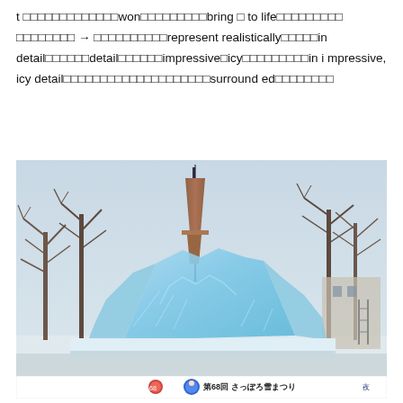t □□□□□□□□□□□□□won□□□□□□□□□bring □ to life□□□□□□□□□ □□□□□□□□ → □□□□□□□□□□represent realistically□□□□□in detail□□□□□□detail□□□□□□impressive□icy□□□□□□□□□in impressive, icy detail□□□□□□□□□□□□□□□□□□surrounded□□□□□□□□
[Figure (photo): Photograph of a large ice sculpture at the 68th Sapporo Snow Festival (第68回 さっぽろ雪まつり). The sculpture is a large blue-tinted ice structure in the foreground with the Sapporo TV Tower visible behind it. Bare winter trees are visible on both sides. A white banner at the bottom shows the festival name in Japanese with logos.]